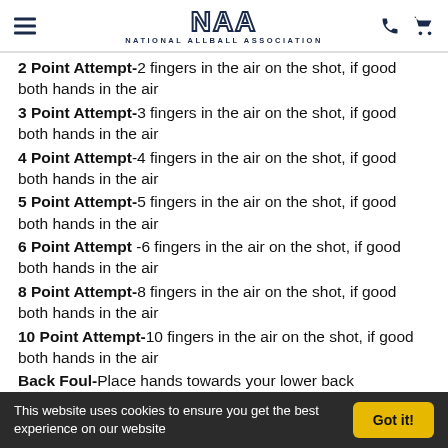NAA - National Allball Association
2 Point Attempt-2 fingers in the air on the shot, if good both hands in the air
3 Point Attempt-3 fingers in the air on the shot, if good both hands in the air
4 Point Attempt-4 fingers in the air on the shot, if good both hands in the air
5 Point Attempt-5 fingers in the air on the shot, if good both hands in the air
6 Point Attempt -6 fingers in the air on the shot, if good both hands in the air
8 Point Attempt-8 fingers in the air on the shot, if good both hands in the air
10 Point Attempt-10 fingers in the air on the shot, if good both hands in the air
Back Foul-Place hands towards your lower back
Charging Foul-One hand on your head with elbow leading...
This website uses cookies to ensure you get the best experience on our website